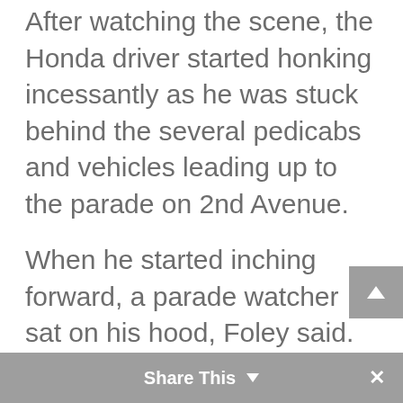After watching the scene, the Honda driver started honking incessantly as he was stuck behind the several pedicabs and vehicles leading up to the parade on 2nd Avenue.
When he started inching forward, a parade watcher sat on his hood, Foley said. As the driver continued to accelerate, others stood in front of the car.
“People began shouting for him to stop so as not to run through a parade that included [sic] children and babies in strollers at which point he floored his car through the crowd,” Foley wrote in an email.
Share This ∨  ×